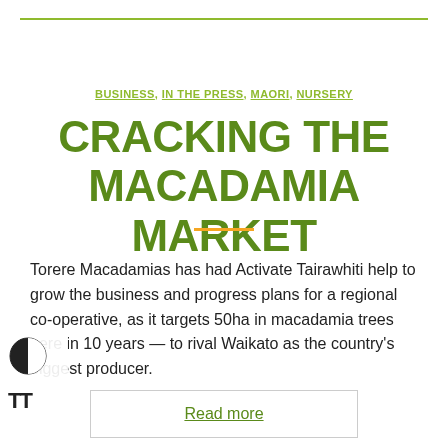BUSINESS, IN THE PRESS, MAORI, NURSERY
CRACKING THE MACADAMIA MARKET
Torere Macadamias has had Activate Tairawhiti help to grow the business and progress plans for a regional co-operative, as it targets 50ha in macadamia trees here in 10 years — to rival Waikato as the country's biggest producer.
Read more